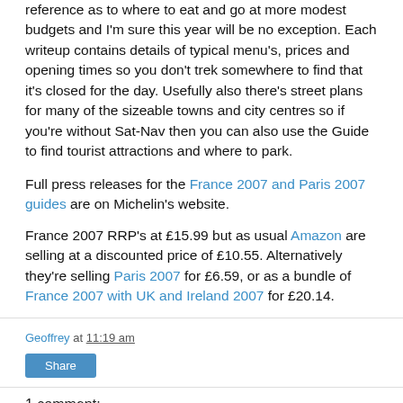reference as to where to eat and go at more modest budgets and I'm sure this year will be no exception. Each writeup contains details of typical menu's, prices and opening times so you don't trek somewhere to find that it's closed for the day. Usefully also there's street plans for many of the sizeable towns and city centres so if you're without Sat-Nav then you can also use the Guide to find tourist attractions and where to park.
Full press releases for the France 2007 and Paris 2007 guides are on Michelin's website.
France 2007 RRP's at £15.99 but as usual Amazon are selling at a discounted price of £10.55. Alternatively they're selling Paris 2007 for £6.59, or as a bundle of France 2007 with UK and Ireland 2007 for £20.14.
Geoffrey at 11:19 am
Share
1 comment: